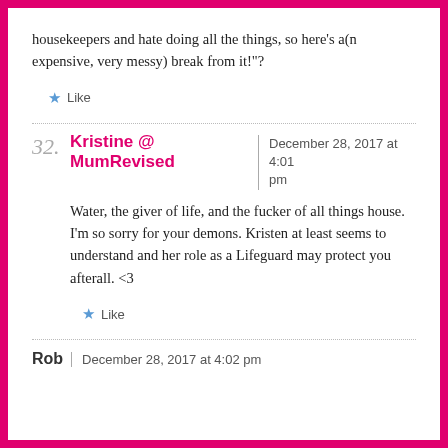housekeepers and hate doing all the things, so here’s a(n expensive, very messy) break from it!"?
★ Like
32. Kristine @ MumRevised | December 28, 2017 at 4:01 pm
Water, the giver of life, and the fucker of all things house. I’m so sorry for your demons. Kristen at least seems to understand and her role as a Lifeguard may protect you afterall. <3
★ Like
Rob | December 28, 2017 at 4:02 pm